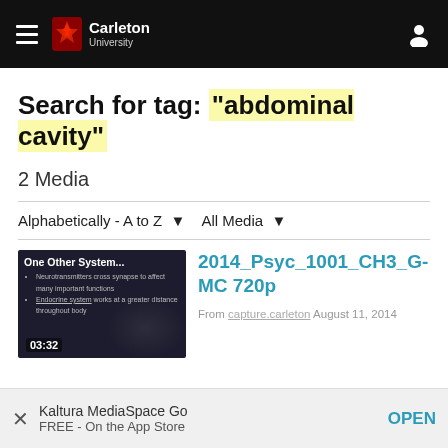Carleton University
Search for tag: "abdominal cavity"
2 Media
Alphabetically - A to Z    All Media
[Figure (screenshot): Video thumbnail showing 'One Other System...' lecture slide with bullets about neurotransmitters and endocrine system, timestamp 03:32]
2014_Psyc_1001_CH3_G-MC 720p
From capture.carleton August 11, 2014
Kaltura MediaSpace Go
FREE - On the App Store
OPEN